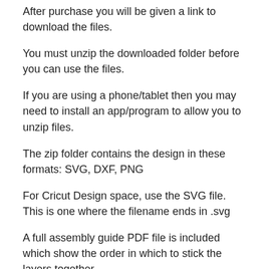After purchase you will be given a link to download the files.
You must unzip the downloaded folder before you can use the files.
If you are using a phone/tablet then you may need to install an app/program to allow you to unzip files.
The zip folder contains the design in these formats: SVG, DXF, PNG
For Cricut Design space, use the SVG file. This is one where the filename ends in .svg
A full assembly guide PDF file is included which show the order in which to stick the layers together.
***** PLEASE NOTE *****
This is a digital file which you will be able to download